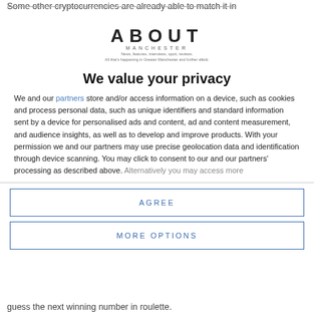Some other cryptocurrencies are already able to match it in
[Figure (logo): About Manchester logo with tagline: News, features, interviews, sport, reviews. All that's happening in Greater Manchester and further afield.]
We value your privacy
We and our partners store and/or access information on a device, such as cookies and process personal data, such as unique identifiers and standard information sent by a device for personalised ads and content, ad and content measurement, and audience insights, as well as to develop and improve products. With your permission we and our partners may use precise geolocation data and identification through device scanning. You may click to consent to our and our partners' processing as described above. Alternatively you may access more
AGREE
MORE OPTIONS
guess the next winning number in roulette.